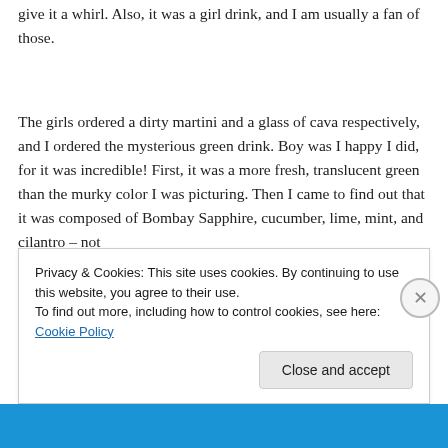give it a whirl. Also, it was a girl drink, and I am usually a fan of those.
The girls ordered a dirty martini and a glass of cava respectively, and I ordered the mysterious green drink. Boy was I happy I did, for it was incredible! First, it was a more fresh, translucent green than the murky color I was picturing. Then I came to find out that it was composed of Bombay Sapphire, cucumber, lime, mint, and cilantro – not
Privacy & Cookies: This site uses cookies. By continuing to use this website, you agree to their use.
To find out more, including how to control cookies, see here: Cookie Policy